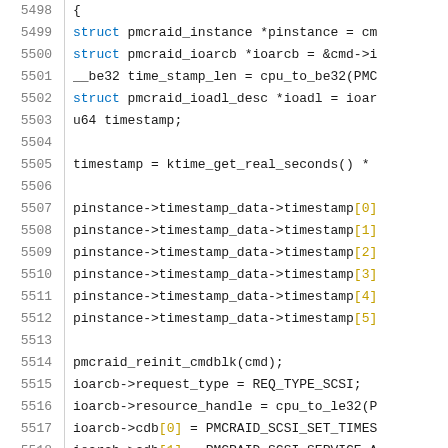[Figure (screenshot): Source code listing showing C code for pmcraid driver, lines 5498-5519, with line numbers on the left and syntax-highlighted code on the right. Keywords in blue, array indices in yellow/gold, identifiers in dark gray.]